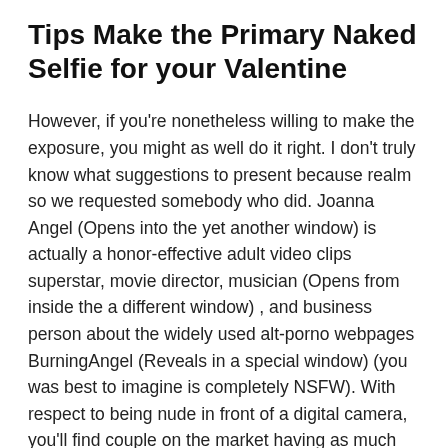Tips Make the Primary Naked Selfie for your Valentine
However, if you're nonetheless willing to make the exposure, you might as well do it right. I don't truly know what suggestions to present because realm so we requested somebody who did. Joanna Angel (Opens into the yet another window) is actually a honor-effective adult video clips superstar, movie director, musician (Opens from inside the a different window) , and business person about the widely used alt-porno webpages BurningAngel (Reveals in a special window) (you was best to imagine is completely NSFW). With respect to being nude in front of a digital camera, you'll find couple on the market having as much feel otherwise triumph.
Is individuals play with a devoted digital camera or a mobile? Or how are you to sharing. The service is to...